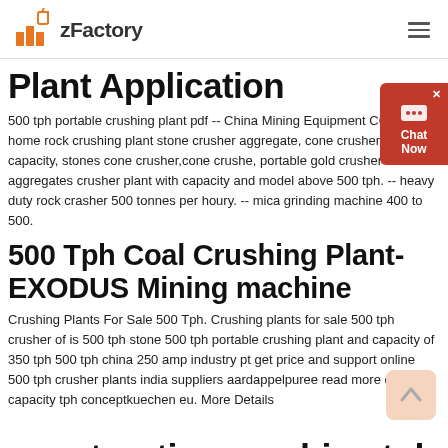zFactory
Plant Application
500 tph portable crushing plant pdf -- China Mining Equipment CO., Ltd home rock crushing plant stone crusher aggregate, cone crusher crushing capacity, stones cone crusher,cone crushe, portable gold crusher-- aggregates crusher plant with capacity and model above 500 tph. -- heavy duty rock crasher 500 tonnes per houry. -- mica grinding machine 400 to 500.
500 Tph Coal Crushing Plant- EXODUS Mining machine
Crushing Plants For Sale 500 Tph. Crushing plants for sale 500 tph crusher of is 500 tph stone 500 tph portable crushing plant and capacity of 350 tph 500 tph china 250 amp industry pt get price and support online 500 tph crusher plants india suppliers aardappelpuree read more crusher capacity tph conceptkuechen eu. More Details
construction machine tph